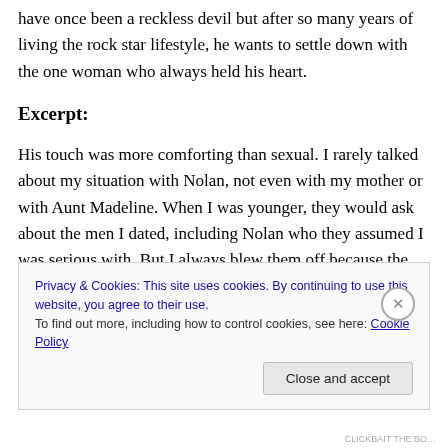have once been a reckless devil but after so many years of living the rock star lifestyle, he wants to settle down with the one woman who always held his heart.
Excerpt:
His touch was more comforting than sexual. I rarely talked about my situation with Nolan, not even with my mother or with Aunt Madeline. When I was younger, they would ask about the men I dated, including Nolan who they assumed I was serious with. But I always blew them off because the likelihood of me marrying was low. I blamed it on my head
Privacy & Cookies: This site uses cookies. By continuing to use this website, you agree to their use.
To find out more, including how to control cookies, see here: Cookie Policy